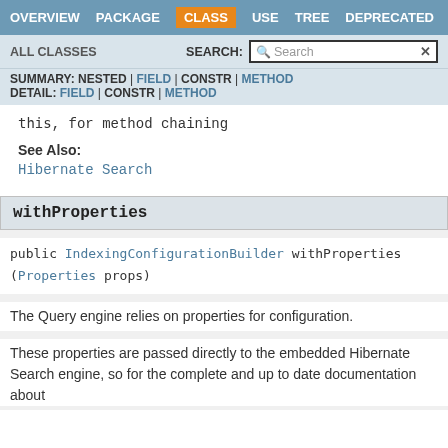OVERVIEW  PACKAGE  CLASS  USE  TREE  DEPRECATED
ALL CLASSES  SEARCH:
SUMMARY: NESTED | FIELD | CONSTR | METHOD
DETAIL: FIELD | CONSTR | METHOD
this, for method chaining
See Also:
Hibernate Search
withProperties
public IndexingConfigurationBuilder withProperties(Properties props)
The Query engine relies on properties for configuration.
These properties are passed directly to the embedded Hibernate Search engine, so for the complete and up to date documentation about